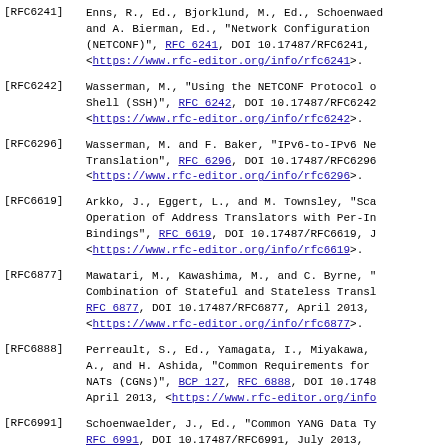[RFC6241] Enns, R., Ed., Bjorklund, M., Ed., Schoenwaelder, J., Ed., and A. Bierman, Ed., "Network Configuration Protocol (NETCONF)", RFC 6241, DOI 10.17487/RFC6241, <https://www.rfc-editor.org/info/rfc6241>.
[RFC6242] Wasserman, M., "Using the NETCONF Protocol over Secure Shell (SSH)", RFC 6242, DOI 10.17487/RFC6242, <https://www.rfc-editor.org/info/rfc6242>.
[RFC6296] Wasserman, M. and F. Baker, "IPv6-to-IPv6 Network Prefix Translation", RFC 6296, DOI 10.17487/RFC6296, <https://www.rfc-editor.org/info/rfc6296>.
[RFC6619] Arkko, J., Eggert, L., and M. Townsley, "Scalable Operation of Address Translators with Per-Interface Bindings", RFC 6619, DOI 10.17487/RFC6619, <https://www.rfc-editor.org/info/rfc6619>.
[RFC6877] Mawatari, M., Kawashima, M., and C. Byrne, "464XLAT: Combination of Stateful and Stateless Translation", RFC 6877, DOI 10.17487/RFC6877, April 2013, <https://www.rfc-editor.org/info/rfc6877>.
[RFC6888] Perreault, S., Ed., Yamagata, I., Miyakawa, S., Nakagawa, A., and H. Ashida, "Common Requirements for Carrier-Grade NATs (CGNs)", BCP 127, RFC 6888, DOI 10.17488, April 2013, <https://www.rfc-editor.org/info>.
[RFC6991] Schoenwaelder, J., Ed., "Common YANG Data Types", RFC 6991, DOI 10.17487/RFC6991, July 2013,